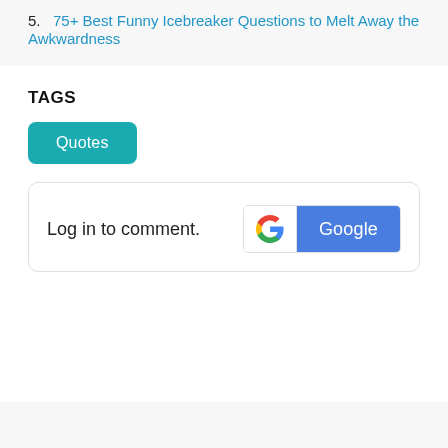5. 75+ Best Funny Icebreaker Questions to Melt Away the Awkwardness
TAGS
Quotes
Log in to comment.
[Figure (logo): Google sign-in button with Google G logo on white background and 'Google' text on blue background]